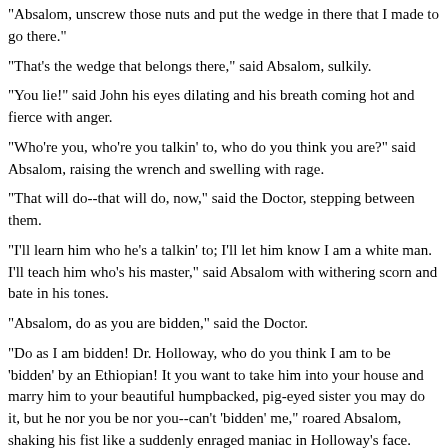"Absalom, unscrew those nuts and put the wedge in there that I made to go there."
"That's the wedge that belongs there," said Absalom, sulkily.
"You lie!" said John his eyes dilating and his breath coming hot and fierce with anger.
"Who're you, who're you talkin' to, who do you think you are?" said Absalom, raising the wrench and swelling with rage.
"That will do--that will do, now," said the Doctor, stepping between them.
"I'll learn him who he's a talkin' to; I'll let him know I am a white man. I'll teach him who's his master," said Absalom with withering scorn and bate in his tones.
"Absalom, do as you are bidden," said the Doctor.
"Do as I am bidden! Dr. Holloway, who do you think I am to be 'bidden' by an Ethiopian! It you want to take him into your house and marry him to your beautiful humpbacked, pig-eyed sister you may do it, but he nor you be nor you--can't 'bidden' me," roared Absalom, shaking his fist like a suddenly enraged maniac in Holloway's face.
A blow quick as lightning from Dr. Holloway's fist laid Absalom Wheeler's full length at his feet.
[from Chapter 16--"Stirring Events"--published on 24 Oct. 1878]
John wasted no time over Absalom, who had regained his feet hailing over...